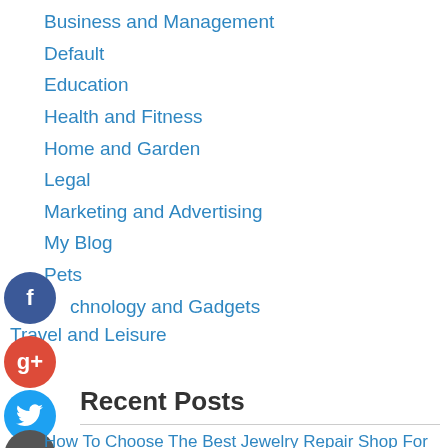Business and Management
Default
Education
Health and Fitness
Home and Garden
Legal
Marketing and Advertising
My Blog
Pets
Technology and Gadgets
Travel and Leisure
Recent Posts
How To Choose The Best Jewelry Repair Shop For You
Everything You Need To Know About Miller Trust In